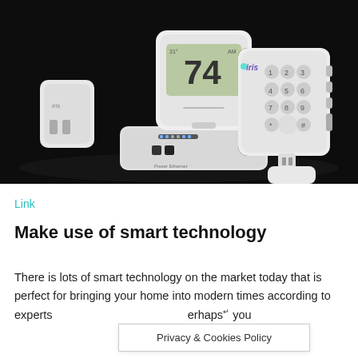[Figure (photo): Smart home technology devices on a black background: a smart thermostat displaying 74 degrees, a hub/router device, a smart plug, an Iris keypad with number buttons, and a small white sensor or plug.]
Link
Make use of smart technology
There is lots of smart technology on the market today that is perfect for bringing your home into modern times according to experts. Perhaps you
Privacy & Cookies Policy